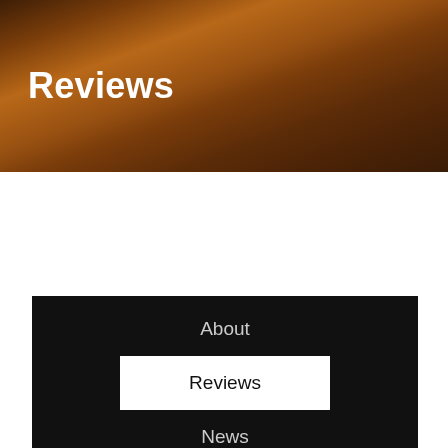Reviews
About
Reviews
News
We use cookies on our website to give you the most relevant experience by remembering your preferences and repeat visits. By clicking “Accept”, you consent to the use of ALL the cookies.
Cookie settings
ACCEPT